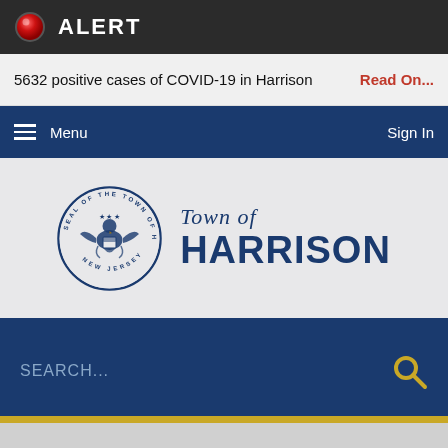ALERT
5632 positive cases of COVID-19 in Harrison  Read On...
Menu  Sign In
[Figure (logo): Town of Harrison New Jersey seal and text logo]
SEARCH...